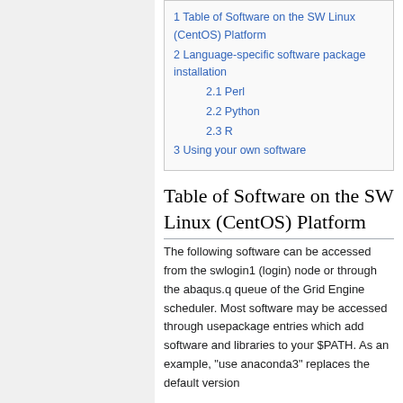1 Table of Software on the SW Linux (CentOS) Platform
2 Language-specific software package installation
2.1 Perl
2.2 Python
2.3 R
3 Using your own software
Table of Software on the SW Linux (CentOS) Platform
The following software can be accessed from the swlogin1 (login) node or through the abaqus.q queue of the Grid Engine scheduler. Most software may be accessed through usepackage entries which add software and libraries to your $PATH. As an example, "use anaconda3" replaces the default version